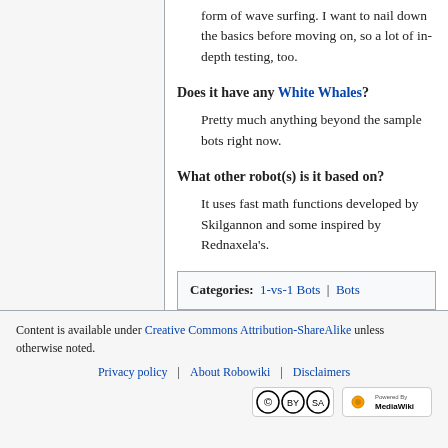form of wave surfing. I want to nail down the basics before moving on, so a lot of in-depth testing, too.
Does it have any White Whales?
Pretty much anything beyond the sample bots right now.
What other robot(s) is it based on?
It uses fast math functions developed by Skilgannon and some inspired by Rednaxela's.
Categories: 1-vs-1 Bots | Bots
Content is available under Creative Commons Attribution-ShareAlike unless otherwise noted.
Privacy policy | About Robowiki | Disclaimers